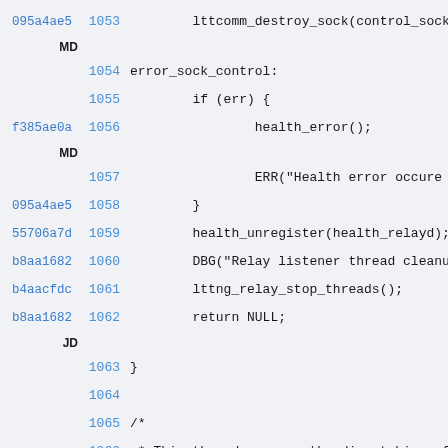095a4ae5 1053   lttcomm_destroy_sock(control_sock
MD
         1054 error_sock_control:
         1055         if (err) {
f385ae0a 1056                 health_error();
MD
         1057                 ERR("Health error occure
095a4ae5 1058         }
55706a7d 1059         health_unregister(health_relayd);
b8aa1682 1060         DBG("Relay listener thread cleanu
b4aacfdc 1061         lttng_relay_stop_threads();
b8aa1682 1062         return NULL;
JD
         1063 }
         1064
         1065 /*
         1066  * This thread manages the dispatching of
              threads
         1067  */